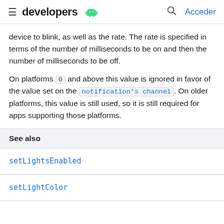developers | Acceder
device to blink, as well as the rate. The rate is specified in terms of the number of milliseconds to be on and then the number of milliseconds to be off.
On platforms 0 and above this value is ignored in favor of the value set on the notification's channel. On older platforms, this value is still used, so it is still required for apps supporting those platforms.
See also
setLightsEnabled
setLightColor